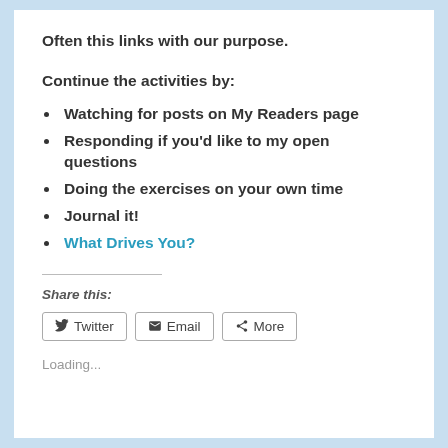Often this links with our purpose.
Continue the activities by:
Watching for posts on My Readers page
Responding if you'd like to my open questions
Doing the exercises on your own time
Journal it!
What Drives You?
Share this:
Twitter  Email  More
Loading...